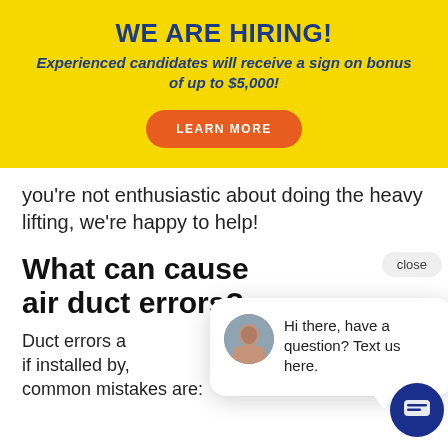WE ARE HIRING!
Experienced candidates will receive a sign on bonus of up to $5,000!
[Figure (other): Orange rounded button with text LEARN MORE]
you're not enthusiastic about doing the heavy lifting, we're happy to help!
What can cause air duct errors?
Duct errors a... if installed by... common mistakes are:
[Figure (other): Chat popup with avatar photo and text: Hi there, have a question? Text us here. Also shows a close button and chat icon.]
Inadequate planning. The ductwork plan in connection to the location of the AC equipment